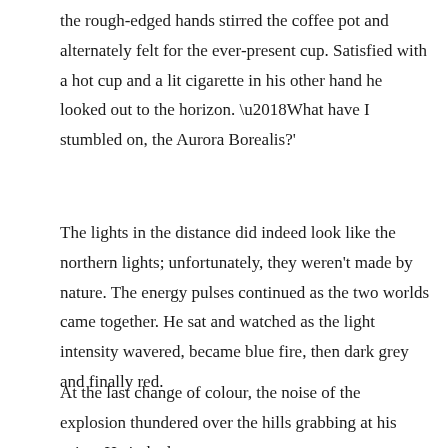the rough-edged hands stirred the coffee pot and alternately felt for the ever-present cup. Satisfied with a hot cup and a lit cigarette in his other hand he looked out to the horizon. ‘What have I stumbled on, the Aurora Borealis?’
The lights in the distance did indeed look like the northern lights; unfortunately, they weren't made by nature. The energy pulses continued as the two worlds came together. He sat and watched as the light intensity wavered, became blue fire, then dark grey and finally red.
At the last change of colour, the noise of the explosion thundered over the hills grabbing at his spine. He jerked as